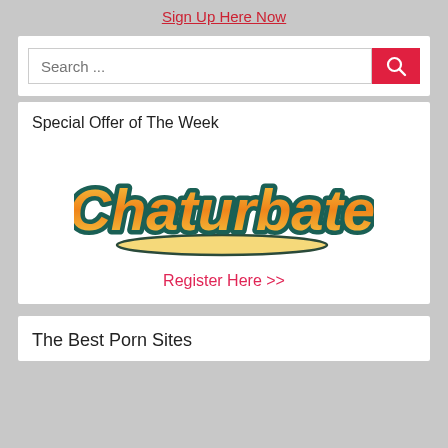Sign Up Here Now
[Figure (screenshot): Search bar with text 'Search ...' and a red search button with magnifying glass icon]
Special Offer of The Week
[Figure (logo): Chaturbate logo in orange/yellow script font with teal outline on white background]
Register Here >>
The Best Porn Sites